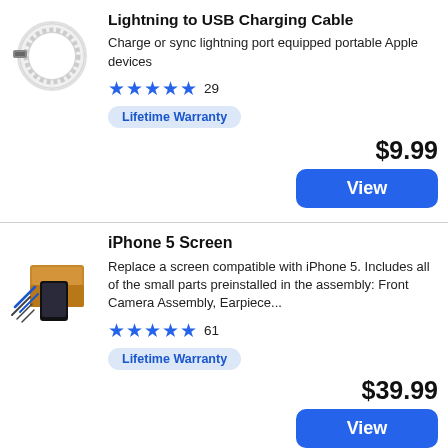Lightning to USB Charging Cable
[Figure (photo): White coiled Lightning to USB charging cable]
Charge or sync lightning port equipped portable Apple devices
★★★★★ 29
Lifetime Warranty
$9.99
View
iPhone 5 Screen
[Figure (photo): iPhone 5 screen replacement kit with tools and box]
Replace a screen compatible with iPhone 5. Includes all of the small parts preinstalled in the assembly: Front Camera Assembly, Earpiece...
★★★★★ 61
Lifetime Warranty
$39.99
View